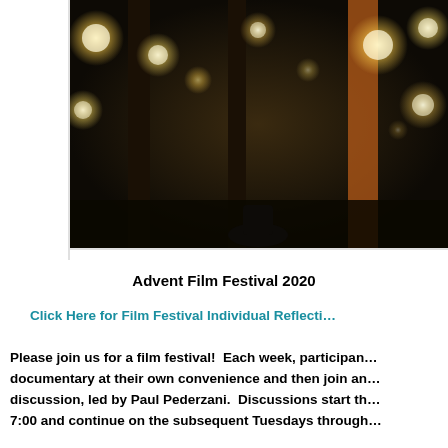[Figure (photo): Dark atmospheric photo of film/theatre lights with bokeh effect, warm golden circular light orbs against a dark background with silhouetted columns/structures]
Advent Film Festival 2020
Click Here for Film Festival Individual Reflecti...
Please join us for a film festival!  Each week, participan... documentary at their own convenience and then join an... discussion, led by Paul Pederzani.  Discussions start th... 7:00 and continue on the subsequent Tuesdays through...